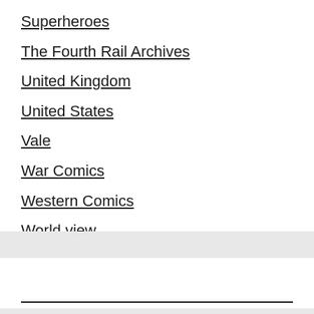Superheroes
The Fourth Rail Archives
United Kingdom
United States
Vale
War Comics
Western Comics
World view